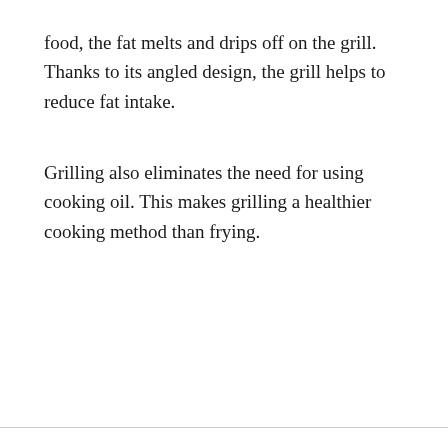food, the fat melts and drips off on the grill. Thanks to its angled design, the grill helps to reduce fat intake.
Grilling also eliminates the need for using cooking oil. This makes grilling a healthier cooking method than frying.